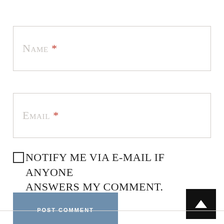Name *
Email *
Notify me via e-mail if anyone answers my comment.
POST COMMENT